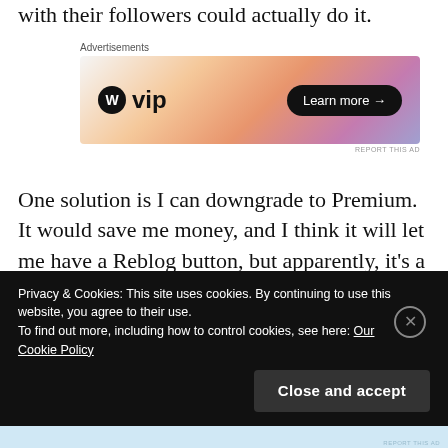with their followers could actually do it.
[Figure (infographic): WordPress VIP advertisement banner with gradient orange-purple background, WordPress logo and 'vip' text on left, 'Learn more →' button on right]
One solution is I can downgrade to Premium. It would save me money, and I think it will let me have a Reblog button, but apparently, it's a bit of a hassle and WordPress's support staff has to do it. I'll lose all my plug-ins and some features. Not sure what I'll do.
Privacy & Cookies: This site uses cookies. By continuing to use this website, you agree to their use.
To find out more, including how to control cookies, see here: Our Cookie Policy